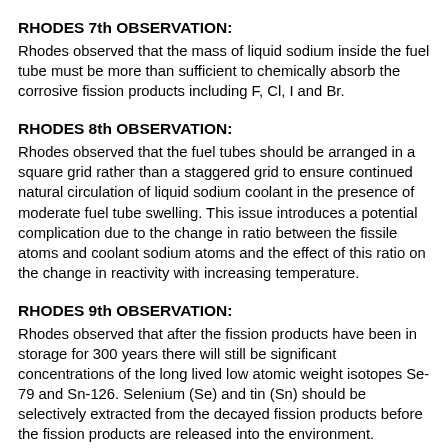RHODES 7th OBSERVATION:
Rhodes observed that the mass of liquid sodium inside the fuel tube must be more than sufficient to chemically absorb the corrosive fission products including F, Cl, I and Br.
RHODES 8th OBSERVATION:
Rhodes observed that the fuel tubes should be arranged in a square grid rather than a staggered grid to ensure continued natural circulation of liquid sodium coolant in the presence of moderate fuel tube swelling. This issue introduces a potential complication due to the change in ratio between the fissile atoms and coolant sodium atoms and the effect of this ratio on the change in reactivity with increasing temperature.
RHODES 9th OBSERVATION:
Rhodes observed that after the fission products have been in storage for 300 years there will still be significant concentrations of the long lived low atomic weight isotopes Se-79 and Sn-126. Selenium (Se) and tin (Sn) should be selectively extracted from the decayed fission products before the fission products are released into the environment.